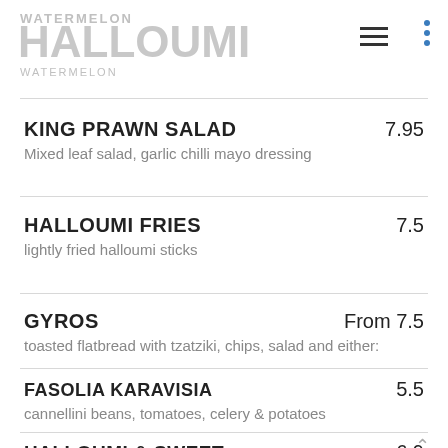WATERMELON HALLOUMI
KING PRAWN SALAD 7.95 — Mixed leaf salad, garlic chilli mayo dressing
HALLOUMI FRIES 7.5 — lightly fried halloumi sticks
GYROS From 7.5 — toasted flatbread with tzatziki, chips, salad and either:
FASOLIA KARAVISIA 5.5 — cannellini beans, tomatoes, celery & potatoes
HALLOUMI & SWEET 6.9